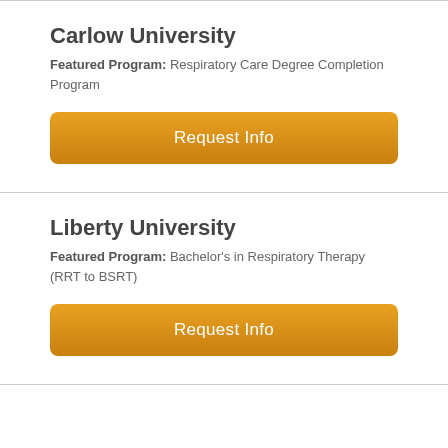Carlow University
Featured Program: Respiratory Care Degree Completion Program
[Figure (other): Orange 'Request Info' button for Carlow University]
Liberty University
Featured Program: Bachelor's in Respiratory Therapy (RRT to BSRT)
[Figure (other): Orange 'Request Info' button for Liberty University]